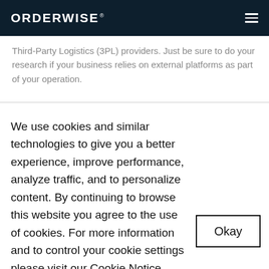ORDERWISE
Third-Party Logistics (3PL) providers. Just be sure to do your research if your business relies on external platforms as part of your operation.
We use cookies and similar technologies to give you a better experience, improve performance, analyze traffic, and to personalize content. By continuing to browse this website you agree to the use of cookies. For more information and to control your cookie settings please visit our Cookie Notice.